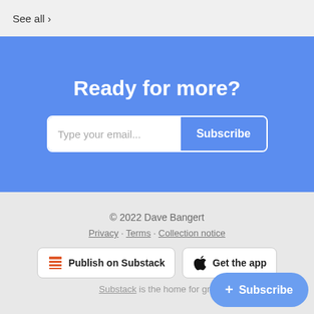See all >
Ready for more?
Type your email... Subscribe
© 2022 Dave Bangert
Privacy · Terms · Collection notice
Publish on Substack
Get the app
Substack is the home for gre
+ Subscribe